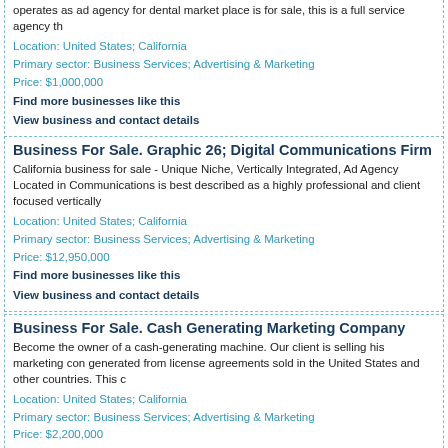operates as ad agency for dental market place is for sale, this is a full service agency th
Location: United States; California
Primary sector: Business Services; Advertising & Marketing
Price: $1,000,000
Find more businesses like this
View business and contact details
Business For Sale. Graphic 26; Digital Communications Firm
California business for sale - Unique Niche, Vertically Integrated, Ad Agency Located in Communications is best described as a highly professional and client focused vertically
Location: United States; California
Primary sector: Business Services; Advertising & Marketing
Price: $12,950,000
Find more businesses like this
View business and contact details
Business For Sale. Cash Generating Marketing Company
Become the owner of a cash-generating machine. Our client is selling his marketing con generated from license agreements sold in the United States and other countries. This c
Location: United States; California
Primary sector: Business Services; Advertising & Marketing
Price: $2,200,000
Find more businesses like this
View business and contact details
Business For Sale. Successful Marketing Business
Become the owner of a cash-generating machine. Our client is selling his marketing con generated from license agreements sold in the United States and other countries. This c
Location: United States; California
Primary sector: Business Services; Advertising & Marketing
Price: $2,200,000
Find more businesses like this
View business and contact details
Business For Sale. Advertising Sales Agency